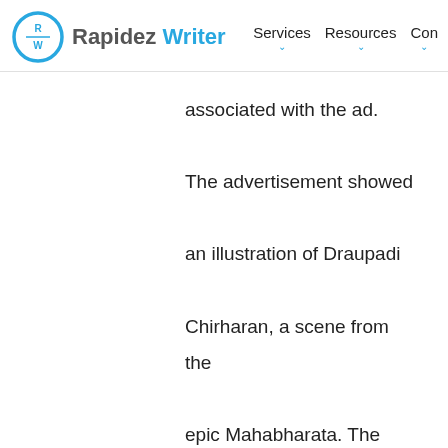Rapidez Writer — Services Resources Con
associated with the ad. The advertisement showed an illustration of Draupadi Chirharan, a scene from the epic Mahabharata. The illustration showed Krishna surfing Myntra's website for 'Extra-long sarees', and Twiteratti have not seemed